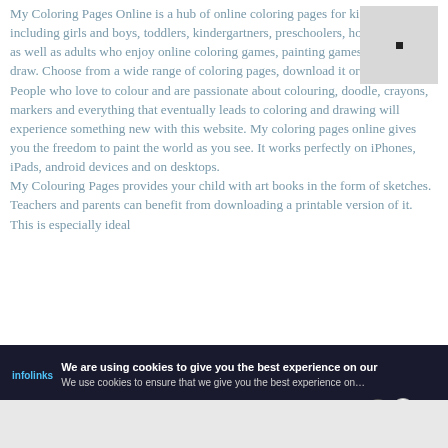My Coloring Pages Online is a hub of online coloring pages for kids of all ages including girls and boys, toddlers, kindergartners, preschoolers, homeschoolers as well as adults who enjoy online coloring games, painting games and love to draw. Choose from a wide range of coloring pages, download it or start coloring. People who love to colour and are passionate about colouring, doodle, crayons, markers and everything that eventually leads to coloring and drawing will experience something new with this website. My coloring pages online gives you the freedom to paint the world as you see. It works perfectly on iPhones, iPads, android devices and on desktops.
My Colouring Pages provides your child with art books in the form of sketches. Teachers and parents can benefit from downloading a printable version of it. This is especially ideal
[Figure (other): Small grey thumbnail box with a dark dot in the center, top-right of main content area]
We are using cookies to give you the best experience on our
[Figure (screenshot): Advertisement banner: Tally app logo with 'Fast credit card payoff' tagline and 'Download Now' button]